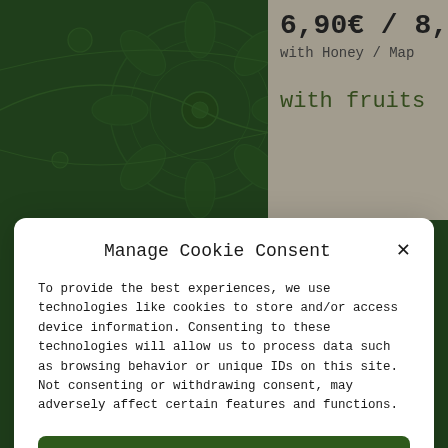[Figure (screenshot): Green decorative floral pattern background on the left portion of the page, with a beige/cream colored right panel showing price '6,90€ / 8,9...' and text 'with Honey / Map...' and 'with fruits']
Manage Cookie Consent
To provide the best experiences, we use technologies like cookies to store and/or access device information. Consenting to these technologies will allow us to process data such as browsing behavior or unique IDs on this site. Not consenting or withdrawing consent, may adversely affect certain features and functions.
Accept
Deny
View preferences
Data protection   imprint